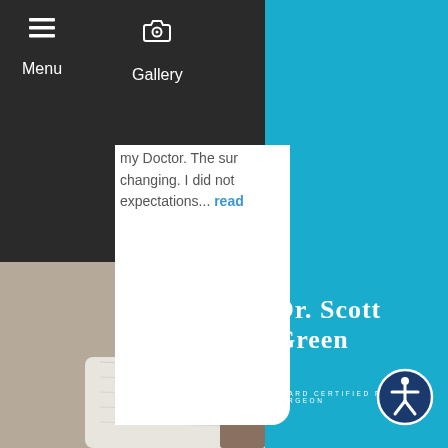[Figure (screenshot): Mobile website screenshot of Dr. Scott Green Board Certified Plastic Surgeon. Left side shows dark navigation bar with Menu and Gallery icons, a white card with partial review text reading 'my Doctor. The sur... changing. I did not expectations... read', and a photo of white cloth/paper below. Right side shows teal background with Dr. Scott Green logo, subtitle 'BOARD CERTIFIED PLASTIC SURGEON', and accessibility icon at bottom right.]
Menu   Gallery
my Doctor. The sur changing. I did not expectations... read
Dr. Scott Green
BOARD CERTIFIED PLASTIC SURGEON